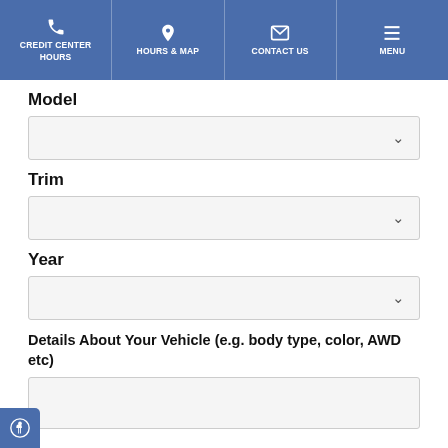CREDIT CENTER HOURS | HOURS & MAP | CONTACT US | MENU
Model
Trim
Year
Details About Your Vehicle (e.g. body type, color, AWD etc)